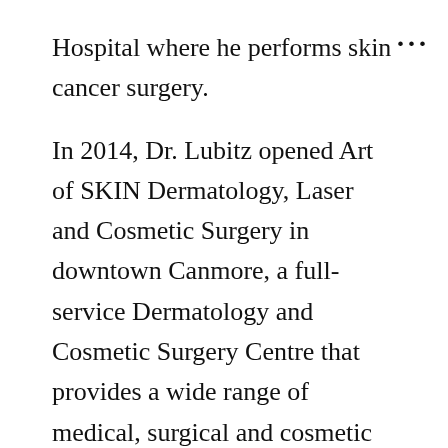Hospital where he performs skin cancer surgery.
In 2014, Dr. Lubitz opened Art of SKIN Dermatology, Laser and Cosmetic Surgery in downtown Canmore, a full-service Dermatology and Cosmetic Surgery Centre that provides a wide range of medical, surgical and cosmetic services to the populations of Canmore, Banff and the entire Bow Valley.
Medical Memberships